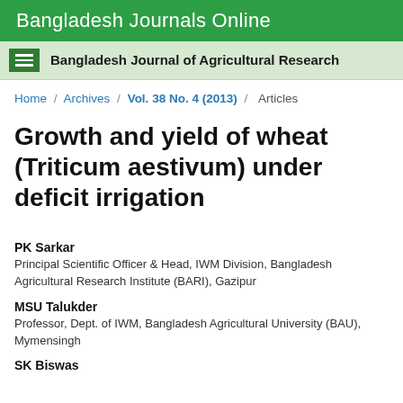Bangladesh Journals Online
Bangladesh Journal of Agricultural Research
Home / Archives / Vol. 38 No. 4 (2013) / Articles
Growth and yield of wheat (Triticum aestivum) under deficit irrigation
PK Sarkar
Principal Scientific Officer & Head, IWM Division, Bangladesh Agricultural Research Institute (BARI), Gazipur
MSU Talukder
Professor, Dept. of IWM, Bangladesh Agricultural University (BAU), Mymensingh
SK Biswas